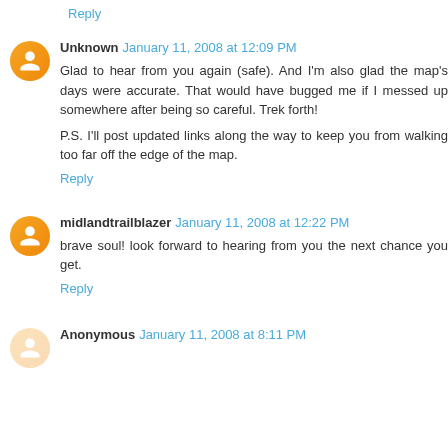Reply
Unknown January 11, 2008 at 12:09 PM
Glad to hear from you again (safe). And I'm also glad the map's days were accurate. That would have bugged me if I messed up somewhere after being so careful. Trek forth!

P.S. I'll post updated links along the way to keep you from walking too far off the edge of the map.
Reply
midlandtrailblazer January 11, 2008 at 12:22 PM
brave soul! look forward to hearing from you the next chance you get.
Reply
Anonymous January 11, 2008 at 8:11 PM